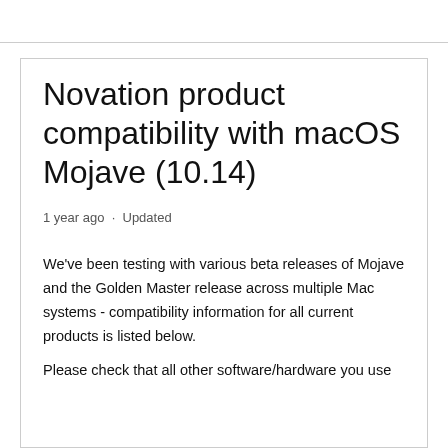Novation product compatibility with macOS Mojave (10.14)
1 year ago · Updated
We've been testing with various beta releases of Mojave and the Golden Master release across multiple Mac systems - compatibility information for all current products is listed below.
Please check that all other software/hardware you use